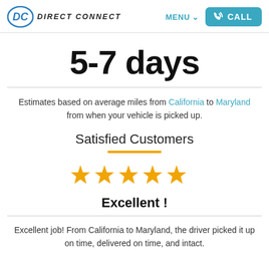DIRECT CONNECT | MENU | CALL
5-7 days
Estimates based on average miles from California to Maryland from when your vehicle is picked up.
Satisfied Customers
[Figure (other): Five orange star rating icons]
Excellent !
Excellent job! From California to Maryland, the driver picked it up on time, delivered on time, and intact.